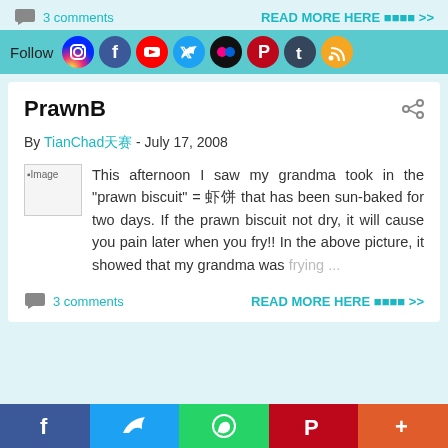3 comments    READ MORE HERE »»
[Figure (infographic): Social media follow icons: Instagram, Facebook, YouTube, Twitter, Flickr, Pinterest, Tumblr, RSS]
PrawnB
By TianChad天赛 - July 17, 2008
This afternoon I saw my grandma took in the "prawn biscuit" = 虞饱 that has been sun-baked for two days. If the prawn biscuit not dry, it will cause you pain later when you fry!! In the above picture, it showed that my grandma was frying ...
3 comments    READ MORE HERE »»
[Figure (infographic): Bottom social share bar: Facebook, Twitter, WhatsApp, Pinterest, More]